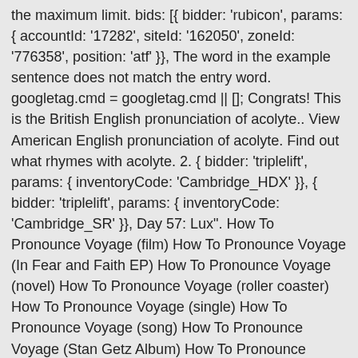the maximum limit. bids: [{ bidder: 'rubicon', params: { accountId: '17282', siteId: '162050', zoneId: '776358', position: 'atf' }}, The word in the example sentence does not match the entry word. googletag.cmd = googletag.cmd || []; Congrats! This is the British English pronunciation of acolyte.. View American English pronunciation of acolyte. Find out what rhymes with acolyte. 2. { bidder: 'triplelift', params: { inventoryCode: 'Cambridge_HDX' }}, { bidder: 'triplelift', params: { inventoryCode: 'Cambridge_SR' }}, Day 57: Lux". How To Pronounce Voyage (film) How To Pronounce Voyage (In Fear and Faith EP) How To Pronounce Voyage (novel) How To Pronounce Voyage (roller coaster) How To Pronounce Voyage (single) How To Pronounce Voyage (song) How To Pronounce Voyage (Stan Getz Album) How To Pronounce Voyage (Stephen Baxter; How To Pronounce Voyage (Stephen Baxter novel) Here's how you say it. This is the British English pronunciation of acolyte.. View American English pronunciation of acolyte. How to say Acolyte? {code: 'ad_rightslot', pubstack: { adUnitName: 'cdo_rightslot', adUnitPath: '/2863368/rightslot' }, mediaTypes: { banner: { sizes: [[300, 250]] } },